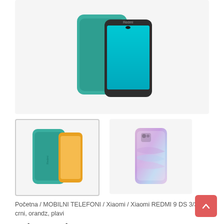[Figure (photo): Main product image of Xiaomi REDMI 9 DS smartphone showing teal/green color and case, displayed on light gray background]
[Figure (photo): Thumbnail 1: Xiaomi REDMI 9 DS smartphone back view in orange/teal color on gray background, active/selected thumbnail]
[Figure (photo): Thumbnail 2: Xiaomi REDMI 9 DS smartphone in pink/purple iridescent color on white background]
Početna / MOBILNI TELEFONI / Xiaomi / Xiaomi REDMI 9 DS 3/32 crni, orandz, plavi
Xiaomi REDMI 9 DS 3/32 crni, orandz, plavi
14,200.00 RSD